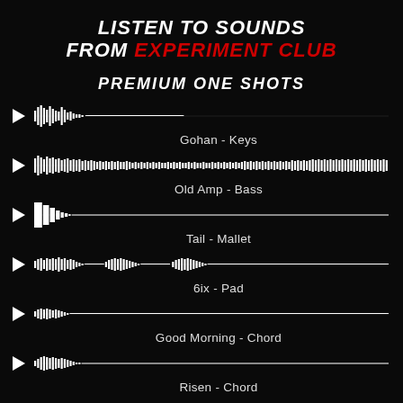LISTEN TO SOUNDS FROM EXPERIMENT CLUB
PREMIUM ONE SHOTS
[Figure (other): Waveform for Gohan - Keys sound sample with play button]
Gohan - Keys
[Figure (other): Waveform for Old Amp - Bass sound sample with play button]
Old Amp - Bass
[Figure (other): Waveform for Tail - Mallet sound sample with play button]
Tail - Mallet
[Figure (other): Waveform for 6ix - Pad sound sample with play button]
6ix - Pad
[Figure (other): Waveform for Good Morning - Chord sound sample with play button]
Good Morning - Chord
[Figure (other): Waveform for Risen - Chord sound sample with play button]
Risen - Chord
[Figure (other): Waveform for an unlabeled sound sample with play button]